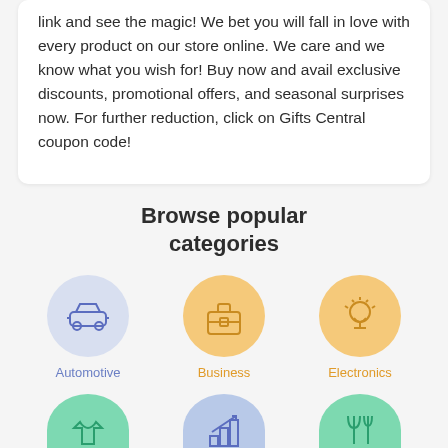link and see the magic! We bet you will fall in love with every product on our store online. We care and we know what you wish for! Buy now and avail exclusive discounts, promotional offers, and seasonal surprises now. For further reduction, click on Gifts Central coupon code!
Browse popular categories
[Figure (infographic): Three category icons in circles: Automotive (blue circle with car icon), Business (orange circle with briefcase icon), Electronics (orange circle with lightbulb icon)]
[Figure (infographic): Three more category icons partially visible: Fashion (green circle with t-shirt icon), Finance (blue circle with bar chart icon), Food (green circle with fork and knife icon)]